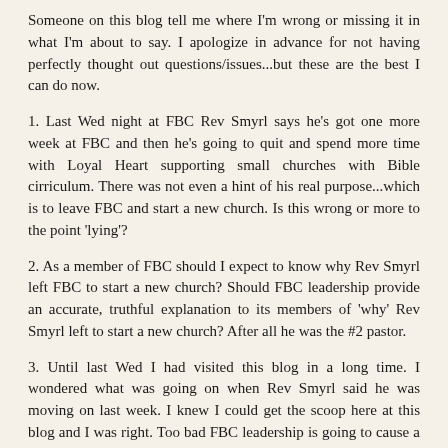Someone on this blog tell me where I'm wrong or missing it in what I'm about to say. I apologize in advance for not having perfectly thought out questions/issues...but these are the best I can do now.
1. Last Wed night at FBC Rev Smyrl says he's got one more week at FBC and then he's going to quit and spend more time with Loyal Heart supporting small churches with Bible cirriculum. There was not even a hint of his real purpose...which is to leave FBC and start a new church. Is this wrong or more to the point 'lying'?
2. As a member of FBC should I expect to know why Rev Smyrl left FBC to start a new church? Should FBC leadership provide an accurate, truthful explanation to its members of 'why' Rev Smyrl left to start a new church? After all he was the #2 pastor.
3. Until last Wed I had visited this blog in a long time. I wondered what was going on when Rev Smyrl said he was moving on last week. I knew I could get the scoop here at this blog and I was right. Too bad FBC leadership is going to cause a bigger scandal by not dealing with this situation more openly and